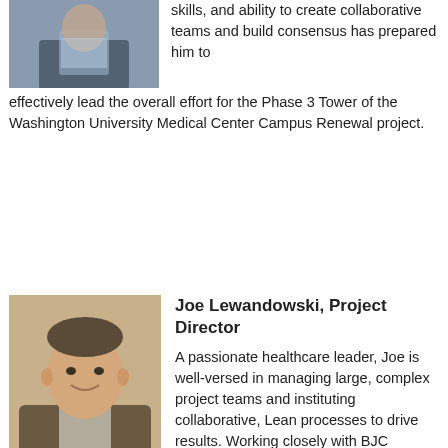[Figure (photo): Headshot of man in suit with blue/white checkered shirt, partial view, upper body]
skills, and ability to create collaborative teams and build consensus has prepared him to effectively lead the overall effort for the Phase 3 Tower of the Washington University Medical Center Campus Renewal project.
[Figure (photo): Headshot of Joe Lewandowski, smiling man in brown suit jacket, light shirt]
Joe Lewandowski, Project Director
A passionate healthcare leader, Joe is well-versed in managing large, complex project teams and instituting collaborative, Lean processes to drive results. Working closely with BJC throughout the lifespan of the project, Tate is focused on ensuring an exceptional client experience and effective implementation of quality and safety programs, as well as cost control and close-out satisfaction.